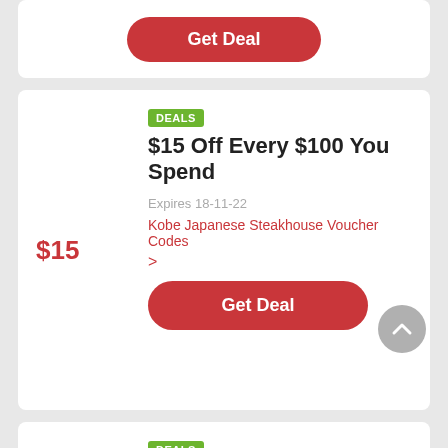[Figure (screenshot): Get Deal button at top of page, red rounded rectangle]
DEALS
$15 Off Every $100 You Spend
Expires 18-11-22
Kobe Japanese Steakhouse Voucher Codes
$15
[Figure (screenshot): Get Deal button, red rounded rectangle]
DEALS
50% Discount On Any Order
Expires 18-11-22